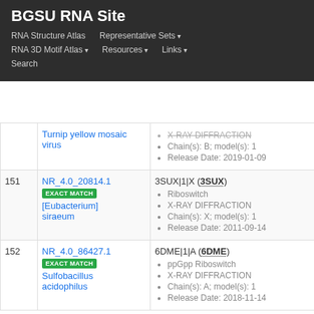BGSU RNA Site
RNA Structure Atlas | Representative Sets ▾ | RNA 3D Motif Atlas ▾ | Resources ▾ | Links ▾ | Search
| # | ID / Organism | Structure Details |
| --- | --- | --- |
|  | Turnip yellow mosaic virus | X-RAY DIFFRACTION
Chain(s): B; model(s): 1
Release Date: 2019-01-09 |
| 151 | NR_4.0_20814.1
EXACT MATCH
[Eubacterium] siraeum | 3SUX|1|X (3SUX)
Riboswitch
X-RAY DIFFRACTION
Chain(s): X; model(s): 1
Release Date: 2011-09-14 |
| 152 | NR_4.0_86427.1
EXACT MATCH
Sulfobacillus acidophilus | 6DME|1|A (6DME)
ppGpp Riboswitch
X-RAY DIFFRACTION
Chain(s): A; model(s): 1
Release Date: 2018-11-14 |